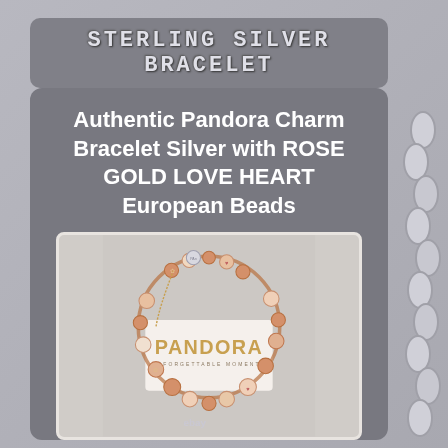Sterling Silver Bracelet
Authentic Pandora Charm Bracelet Silver with ROSE GOLD LOVE HEART European Beads
[Figure (photo): Photo of a Pandora charm bracelet with rose gold and silver charms including hearts, flowers, and other decorative beads, displayed on a Pandora branded card reading 'PANDORA UNFORGETTABLE MOMENTS'. An eBay watermark is visible at the bottom.]